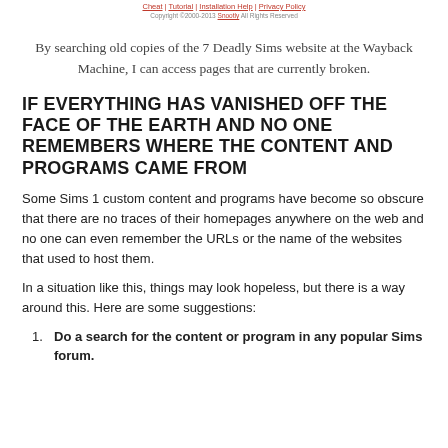Cheat | Tutorial | Installation Help | Privacy Policy
Copyright 2000-2013 Snooty All Rights Reserved
By searching old copies of the 7 Deadly Sims website at the Wayback Machine, I can access pages that are currently broken.
IF EVERYTHING HAS VANISHED OFF THE FACE OF THE EARTH AND NO ONE REMEMBERS WHERE THE CONTENT AND PROGRAMS CAME FROM
Some Sims 1 custom content and programs have become so obscure that there are no traces of their homepages anywhere on the web and no one can even remember the URLs or the name of the websites that used to host them.
In a situation like this, things may look hopeless, but there is a way around this. Here are some suggestions:
1. Do a search for the content or program in any popular Sims forum.